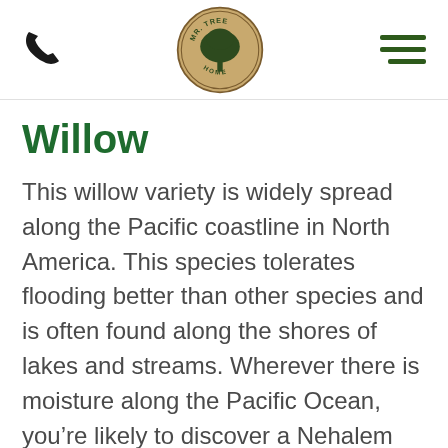Mr. Tree Home [logo] [phone icon] [menu icon]
Willow
This willow variety is widely spread along the Pacific coastline in North America. This species tolerates flooding better than other species and is often found along the shores of lakes and streams. Wherever there is moisture along the Pacific Ocean, you’re likely to discover a Nehalem Pacific willow tree. Like other willow trees, this tree will